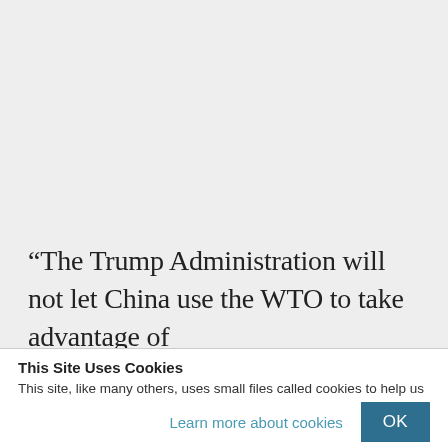“The Trump Administration will not let China use the WTO to take advantage of
This Site Uses Cookies
This site, like many others, uses small files called cookies to help us improve and customize your experience. Learn more about how we use cookies in our cookie policy.
Learn more about cookies
OK